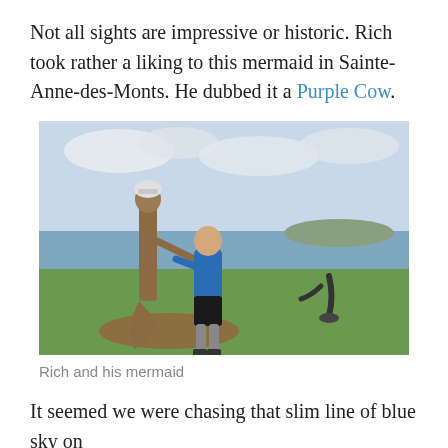Not all sights are impressive or historic. Rich took rather a liking to this mermaid in Sainte-Anne-des-Monts. He dubbed it a Purple Cow.
[Figure (photo): A man in a blue jacket and cycling gear standing next to a large wooden mermaid sculpture outdoors near a waterfront. Another sculpture is visible in the background. The area has grass and the sea is visible behind.]
Rich and his mermaid
It seemed we were chasing that slim line of blue sky on